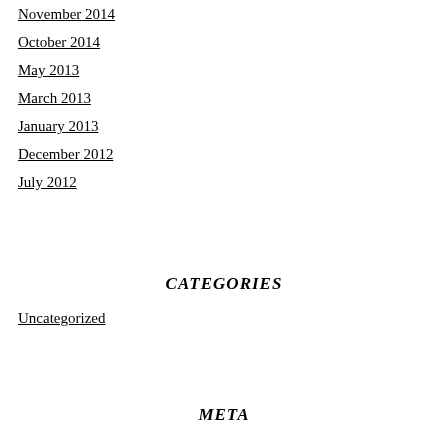November 2014
October 2014
May 2013
March 2013
January 2013
December 2012
July 2012
CATEGORIES
Uncategorized
META